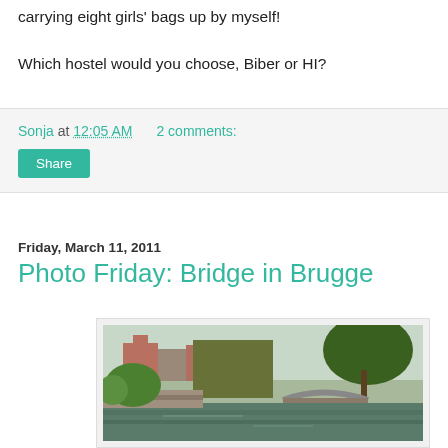carrying eight girls' bags up by myself!
Which hostel would you choose, Biber or HI?
Sonja at 12:05 AM   2 comments:
Share
Friday, March 11, 2011
Photo Friday: Bridge in Brugge
[Figure (photo): A bridge over a canal in Brugge, Belgium, with ivy-covered stone buildings and trees along the waterway.]